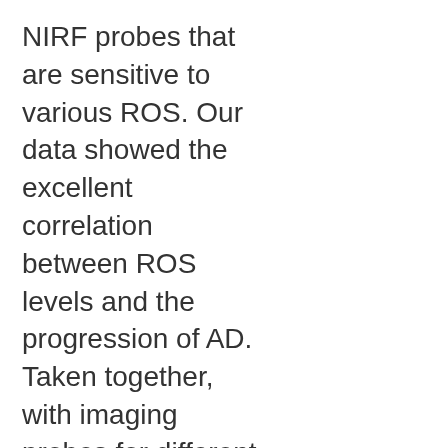NIRF probes that are sensitive to various ROS. Our data showed the excellent correlation between ROS levels and the progression of AD. Taken together, with imaging probes for different dimensions of AD biomarkers